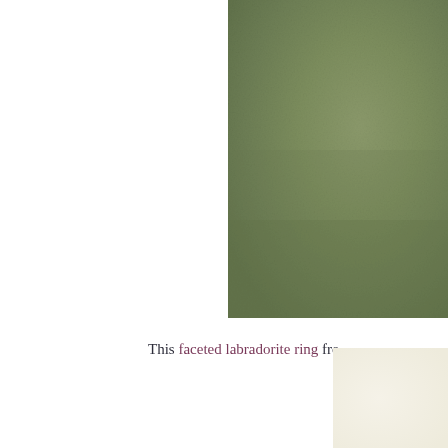[Figure (photo): A close-up photo of a sage/olive green textured surface, partially visible on the right side of the page, extending from top to about 3/4 down the page.]
This faceted labradorite ring fro
[Figure (photo): A partial photo of a cream/off-white colored object visible in the bottom-right corner of the page.]